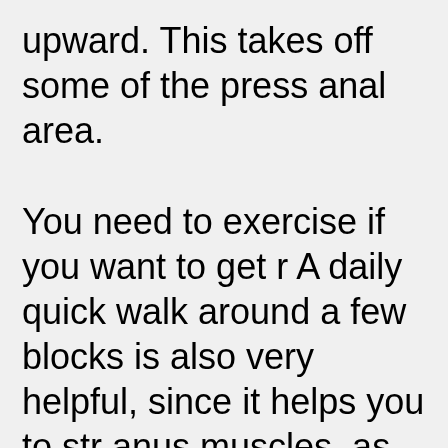upward. This takes off some of the press anal area.
You need to exercise if you want to get r A daily quick walk around a few blocks is also very helpful, since it helps you to str anus muscles, as well as revive circulatio you do will be useful. Another exercise to rebounder. A rebounder exercises every and helps in order to force your lymph lic nodes with regard to detoxification. This recover from any condition you might ha